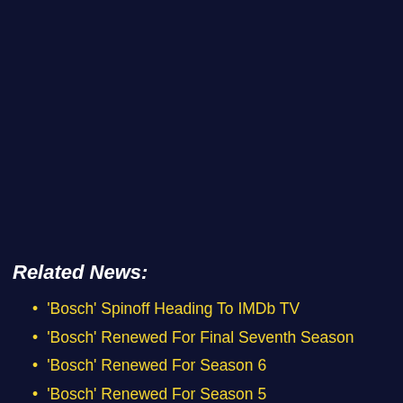Related News:
'Bosch' Spinoff Heading To IMDb TV
'Bosch' Renewed For Final Seventh Season
'Bosch' Renewed For Season 6
'Bosch' Renewed For Season 5
'Bosch' Renewed For Season 4